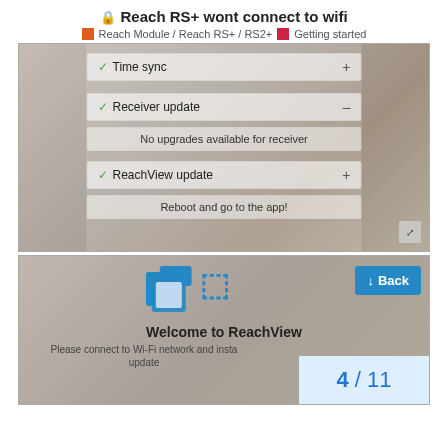🔒 Reach RS+ wont connect to wifi
■ Reach Module / Reach RS+ / RS2+  ■ Getting started
[Figure (screenshot): Screenshot of a mobile app showing a list of update statuses: Time sync (checkmark, +), Receiver update (checkmark, –), 'No upgrades available for receiver', ReachView update (checkmark, +), 'Reboot and go to the app!' with an expand icon in the bottom right corner.]
[Figure (screenshot): Screenshot of the ReachView welcome screen with logo, 'Welcome to ReachView' text, 'Please connect to Wi-Fi network and install update' text, and a blue 'Back' button. Bottom right shows page counter '4 / 11'.]